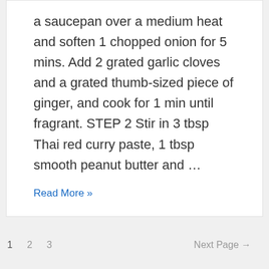a saucepan over a medium heat and soften 1 chopped onion for 5 mins. Add 2 grated garlic cloves and a grated thumb-sized piece of ginger, and cook for 1 min until fragrant. STEP 2 Stir in 3 tbsp Thai red curry paste, 1 tbsp smooth peanut butter and …
Read More »
1  2  3  Next Page →